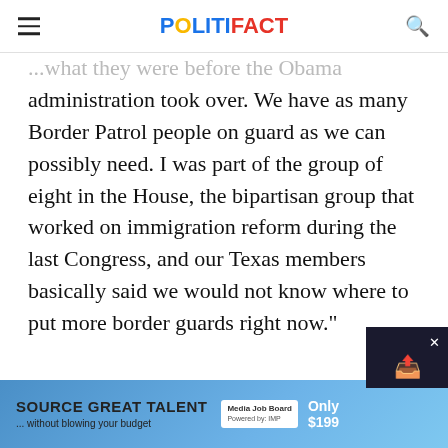POLITIFACT
...what they were before the Obama administration took over. We have as many Border Patrol people on guard as we can possibly need. I was part of the group of eight in the House, the bipartisan group that worked on immigration reform during the last Congress, and our Texas members basically said we would not know where to put more border guards right now."
So Melvin's comments come from Yarmu... who s...